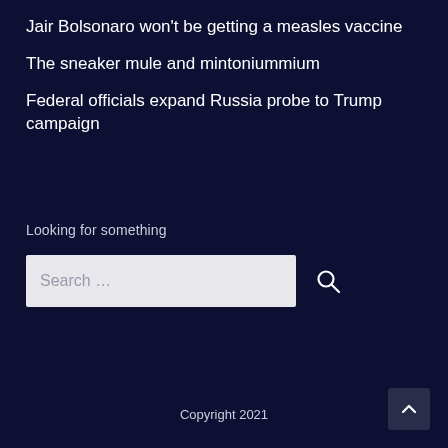Jair Bolsonaro won't be getting a measles vaccine
The sneaker mule and mintoniummium
Federal officials expand Russia probe to Trump campaign
Looking for something
Search …
Copyright 2021